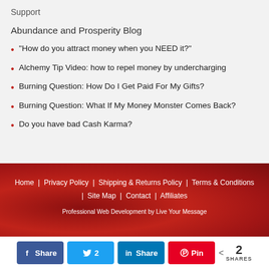Support
Abundance and Prosperity Blog
“How do you attract money when you NEED it?”
Alchemy Tip Video: how to repel money by undercharging
Burning Question: How Do I Get Paid For My Gifts?
Burning Question: What If My Money Monster Comes Back?
Do you have bad Cash Karma?
Home | Privacy Policy | Shipping & Returns Policy | Terms & Conditions | Site Map | Contact | Affiliates
Professional Web Development by Live Your Message
Share buttons: Facebook, Twitter 2, LinkedIn, Pinterest. 2 SHARES